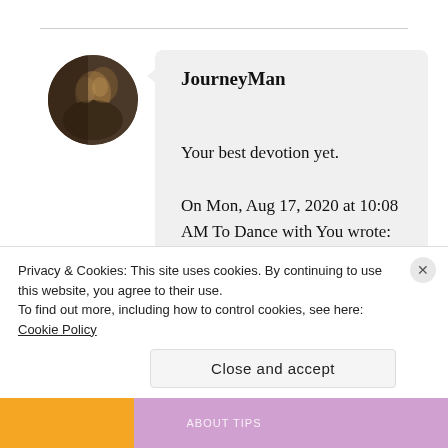[Figure (photo): Circular avatar photo of a person with dark lighting and brown tones]
JourneyMan
Your best devotion yet.

On Mon, Aug 17, 2020 at 10:08 AM To Dance with You wrote:
Privacy & Cookies: This site uses cookies. By continuing to use this website, you agree to their use.
To find out more, including how to control cookies, see here: Cookie Policy
Close and accept